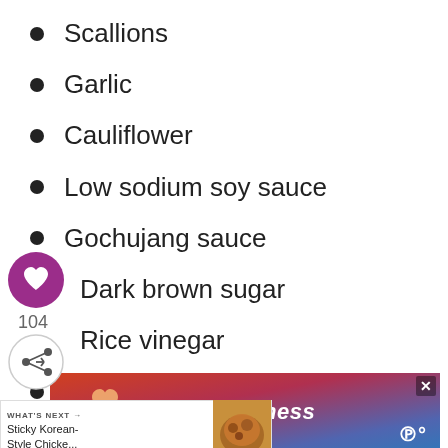Scallions
Garlic
Cauliflower
Low sodium soy sauce
Gochujang sauce
Dark brown sugar
Rice vinegar
Cornstarch
Sesame seeds
[Figure (screenshot): Social media sidebar with heart/like button showing 104 likes and a share button]
[Figure (screenshot): What's Next promo: Sticky Korean-Style Chicke... with food thumbnail image]
[Figure (screenshot): Advertisement banner with #ViralKindness text over hands making heart shape silhouette]